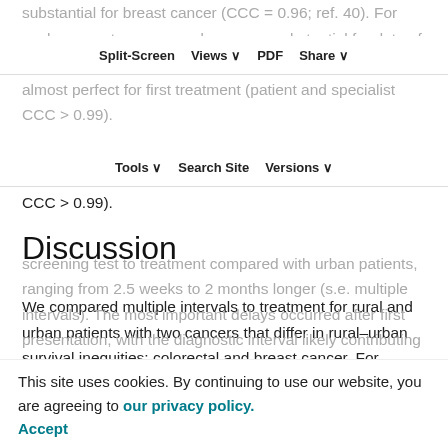substantial for breast cancer (CCC = 0.96; ref. 40). For each cancer type, concordance was substantial for date of diagnosis (patient and cancer registry: CCC > 0.99) and almost perfect for first treatment (patient and specialist CCC > 0.99).
Split-Screen | Views | PDF | Share
Tools | Search Site | Versions
Discussion
We compared multiple intervals to treatment for rural and urban patients with two cancers that differ in rural–urban survival inequities: colorectal and breast cancer. For colorectal cancer, where a survival difference exists, rural patients had a longer interval from first symptom or screening test to treatment compared with urban patients, ranging from 2.5 weeks to 2 months longer (s.e. multiple intervals). The most important delays occurred after first presentation, with the diagnostic interval likely contributing
This site uses cookies. By continuing to use our website, you are agreeing to our privacy policy. Accept